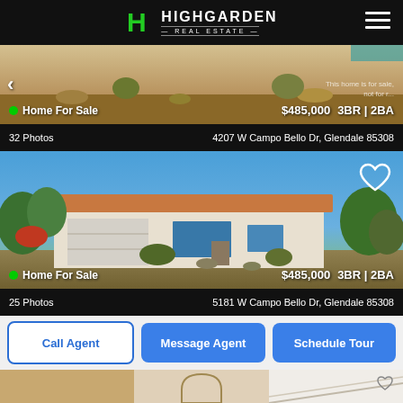[Figure (logo): Highgarden Real Estate logo with green H icon]
[Figure (photo): Desert landscape with rocks and plants, first listing]
Home For Sale   $485,000   3BR | 2BA
This home is for sale, not for r...
32 Photos   4207 W Campo Bello Dr, Glendale 85308
[Figure (photo): Single-story white stucco house with red tile roof, garage, desert landscaping and blue sky]
Home For Sale   $485,000   3BR | 2BA
25 Photos   5181 W Campo Bello Dr, Glendale 85308
Call Agent
Message Agent
Schedule Tour
[Figure (photo): Interior home photos strip at bottom]